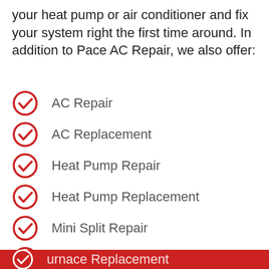your heat pump or air conditioner and fix your system right the first time around. In addition to Pace AC Repair, we also offer:
AC Repair
AC Replacement
Heat Pump Repair
Heat Pump Replacement
Mini Split Repair
Mini Split Replacement
Furnace Repair
Furnace Replacement